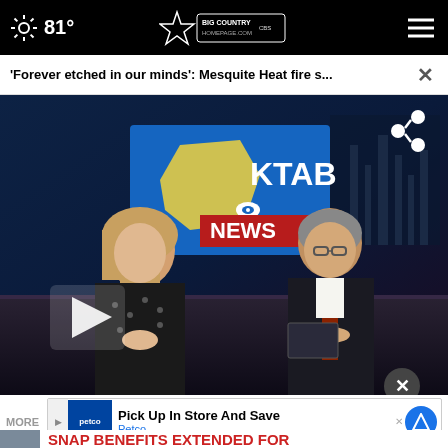81° Big Country Homepage KTAB CBS
'Forever etched in our minds': Mesquite Heat fire s...
[Figure (screenshot): KTAB CBS News broadcast screenshot showing two news anchors at a desk — a blonde woman in a polka-dot dress and a man in a dark suit — in front of a KTAB NEWS logo backdrop. A white play button triangle is visible in the lower left. A share icon is in the upper right.]
MORE
[Figure (screenshot): Advertisement banner: Pick Up In Store And Save - Petco, with Petco logo and blue navigation icon.]
SNAP benefits extended for